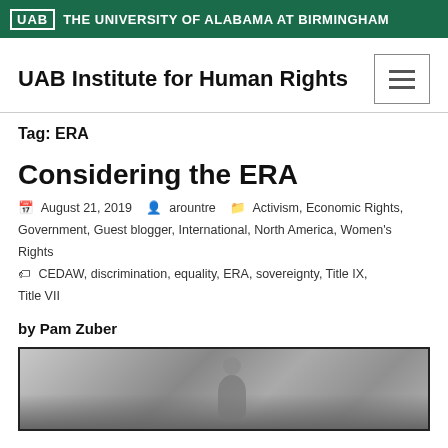UAB THE UNIVERSITY OF ALABAMA AT BIRMINGHAM
UAB Institute for Human Rights
Tag: ERA
Considering the ERA
August 21, 2019  arountre  Activism, Economic Rights, Government, Guest blogger, International, North America, Women's Rights  CEDAW, discrimination, equality, ERA, sovereignty, Title IX, Title VII
by Pam Zuber
[Figure (photo): Black and white photograph, partially visible, showing a person in the lower portion of the frame]